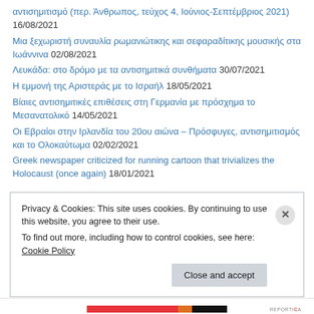αντισημιτισμό (περ. Άνθρωπος, τεύχος 4, Ιούνιος-Σεπτέμβριος 2021) 16/08/2021
Μια ξεχωριστή συναυλία ρωμανιώτικης και σεφαραδίτικης μουσικής στα Ιωάννινα 02/08/2021
Λευκάδα: στο δρόμο με τα αντισημιτικά συνθήματα 30/07/2021
Η εμμονή της Αριστεράς με το Ισραήλ 18/05/2021
Βίαιες αντισημιτικές επιθέσεις στη Γερμανία με πρόσχημα το Μεσανατολικό 14/05/2021
Οι Εβραίοι στην Ιρλανδία του 20ου αιώνα – Πρόσφυγες, αντισημιτισμός και το Ολοκαύτωμα 02/02/2021
Greek newspaper criticized for running cartoon that trivializes the Holocaust (once again) 18/01/2021
Privacy & Cookies: This site uses cookies. By continuing to use this website, you agree to their use. To find out more, including how to control cookies, see here: Cookie Policy